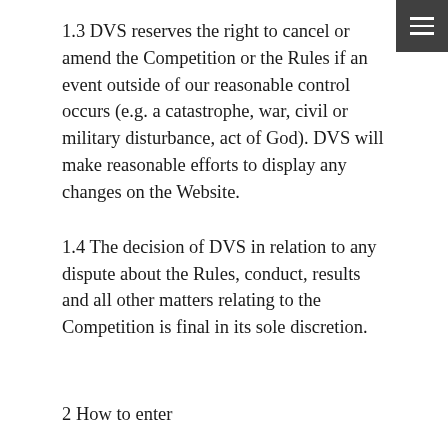1.3 DVS reserves the right to cancel or amend the Competition or the Rules if an event outside of our reasonable control occurs (e.g. a catastrophe, war, civil or military disturbance, act of God). DVS will make reasonable efforts to display any changes on the Website.
1.4 The decision of DVS in relation to any dispute about the Rules, conduct, results and all other matters relating to the Competition is final in its sole discretion.
2 How to enter
2.1 Employees of DVS, or any of their subsidiary and associated companies, agents or members of their families or households, are not eligible to enter the Competition. This does not exclude employees of sponsors and their subsidiary and associated